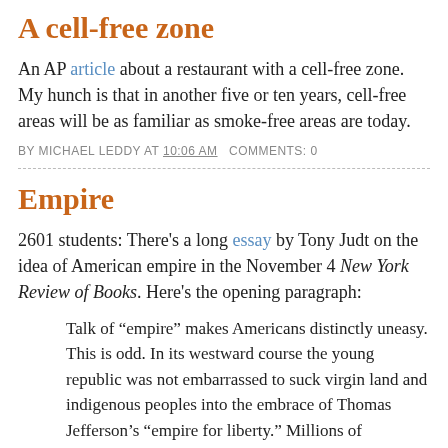A cell-free zone
An AP article about a restaurant with a cell-free zone. My hunch is that in another five or ten years, cell-free areas will be as familiar as smoke-free areas are today.
BY MICHAEL LEDDY AT 10:06 AM   COMMENTS: 0
Empire
2601 students: There's a long essay by Tony Judt on the idea of American empire in the November 4 New York Review of Books. Here's the opening paragraph:
Talk of “empire” makes Americans distinctly uneasy. This is odd. In its westward course the young republic was not embarrassed to suck virgin land and indigenous peoples into the embrace of Thomas Jefferson’s “empire for liberty.” Millions of American immigrants made and still make their first acquaintance with the US through New York, “the